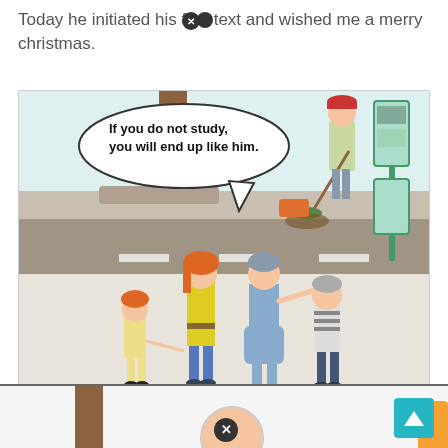Today he initiated his first text and wished me a merry christmas.
[Figure (illustration): Cartoon illustration showing a street scene. A woman in a blue outfit is pointing toward a street sweeper (man with broom and red cap) while speaking to a boy. A speech bubble reads 'If you do not study, you will end up like him.' A woman with red hair and a small girl in yellow also stand nearby. A green traffic/parking meter is visible on the right.]